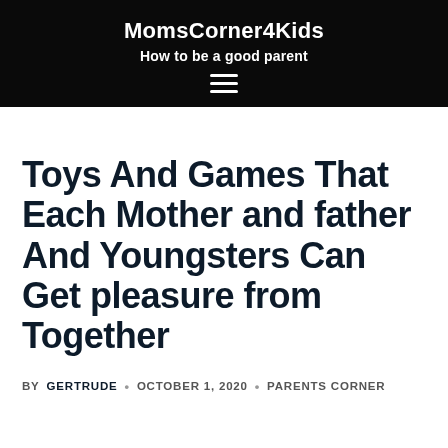MomsCorner4Kids · How to be a good parent
Toys And Games That Each Mother and father And Youngsters Can Get pleasure from Together
BY GERTRUDE · OCTOBER 1, 2020 · PARENTS CORNER